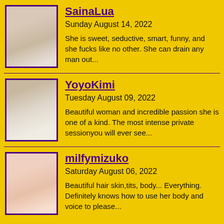[Figure (photo): Thumbnail photo of SainaLua]
SainaLua
Sunday August 14, 2022
She is sweet, seductive, smart, funny, and she fucks like no other. She can drain any man out...
[Figure (photo): Thumbnail photo of YoyoKimi]
YoyoKimi
Tuesday August 09, 2022
Beautiful woman and incredible passion she is one of a kind. The most intense private sessionyou will ever see...
[Figure (photo): Thumbnail photo of milfymizuko]
milfymizuko
Saturday August 06, 2022
Beautiful hair skin,tits, body... Everything. Definitely knows how to use her body and voice to please...